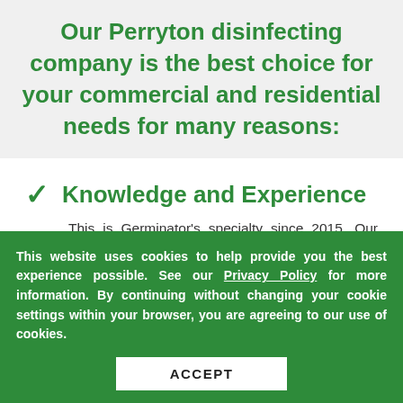Our Perryton disinfecting company is the best choice for your commercial and residential needs for many reasons:
Knowledge and Experience
This is Germinator's specialty since 2015. Our Perryton disinfecting company is 100% focused
This website uses cookies to help provide you the best experience possible. See our Privacy Policy for more information. By continuing without changing your cookie settings within your browser, you are agreeing to our use of cookies.
ACCEPT